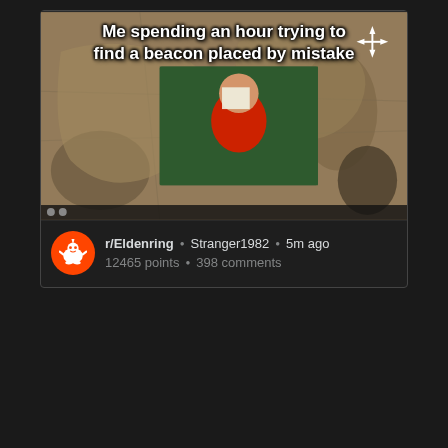[Figure (photo): Reddit post card showing a meme image. The meme has a background of an old antique map with a person in red shirt holding paper up to their face overlaid in the center. White bold text overlay reads 'Me spending an hour trying to find a beacon placed by mistake'. Below the image: Reddit alien icon, subreddit r/Eldenring, username Stranger1982, posted 5m ago, 12465 points, 398 comments.]
r/Eldenring • Stranger1982 • 5m ago
12465 points • 398 comments